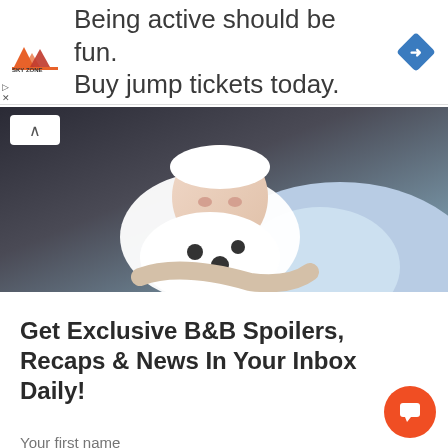[Figure (infographic): Sky Zone advertisement banner: orange/red logo on left, text 'Being active should be fun. Buy jump tickets today.', blue diamond navigation icon on right]
[Figure (photo): Close-up photo of a newborn baby in a white hat and black-and-white patterned outfit being held by a person in a light blue top]
Get Exclusive B&B Spoilers, Recaps & News In Your Inbox Daily!
Your first name
Your email address